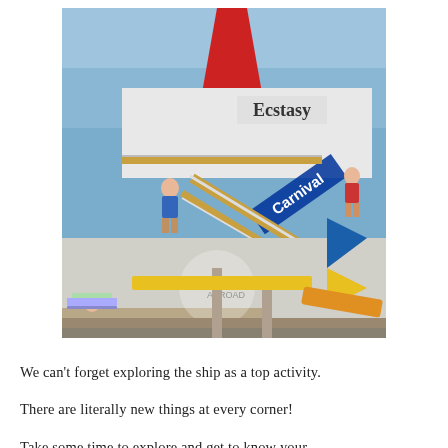[Figure (photo): Photo of the Carnival Ecstasy cruise ship exterior. A large red funnel/smokestack is visible at top center. The ship's name 'Ecstasy' is shown on a white hull, with 'Carnival' written in blue letters on a gangway ramp. Passengers are visible on a deck with gold/brown railing. A blue and yellow flag or waterslide structure is visible on the right side. The foreground shows the dock/pier area.]
We can't forget exploring the ship as a top activity. There are literally new things at every corner! Take some time to explore and get to know your